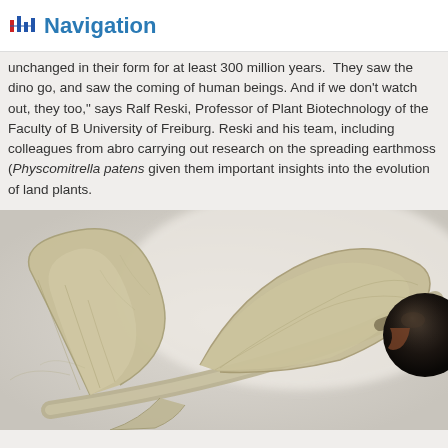Navigation
unchanged in their form for at least 300 million years. They saw the dino go, and saw the coming of human beings. And if we don't watch out, they too," says Ralf Reski, Professor of Plant Biotechnology of the Faculty of B University of Freiburg. Reski and his team, including colleagues from abro carrying out research on the spreading earthmoss (Physcomitrella patens given them important insights into the evolution of land plants.
[Figure (photo): Close-up macro photograph of Physcomitrella patens earthmoss sporophyte showing the leafy gametophyte structures and a dark spherical sporangium capsule, in pale beige/tan tones against a light background.]